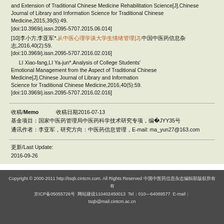and Extension of Traditional Chinese Medicine Rehabilitation Science[J].Chinese Journal of Library and Information Science for Traditional Chinese Medicine,2015,39(5):49.[doi:10.3969/j.issn.2095-5707.2015.06.014]
[10] LI Xiao-fang,LI Ya-jun*. [link text] [J]. Chinese Journal of Library and Information Science, 2016,40(2):59.[doi:10.3969/j.issn.2095-5707.2016.02.016] LI Xiao-fang,LI Ya-jun*.Analysis of College Students' Emotional Management from the Aspect of Traditional Chinese Medicine[J].Chinese Journal of Library and Information Science for Traditional Chinese Medicine,2016,40(5):59.[doi:10.3969/j.issn.2095-5707.2016.02.016]
收稿/Memo: 收稿日期2016-07-13
基金项目：国家中医药管理局中医药科学技术研究专项，编号2016JYY35号
通讯作者：李亚军，E-mail: ma_yun27@163.com
更新/Last Update: 2016-09-26
Copyright © 2000-2011 http://tsqb.cintcm.com. All Rights Reserved 中国中医药信息杂志编辑部版权所有
京ICP备05055726号 网站建设110402450013 Tel：010—64089577 E-mail：tsqb@mail.cintcm.ac.cn